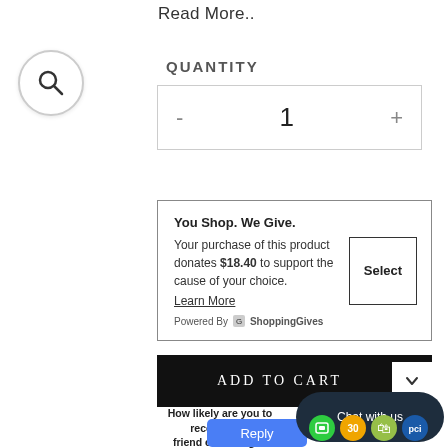Read More..
[Figure (other): Search magnifying glass icon in circular button]
QUANTITY
- 1 +
You Shop. We Give.
Your purchase of this product donates $18.40 to support the cause of your choice.
Learn More
Powered By ShoppingGives
ADD TO CART
How likely are you to recommend to a friend or colleague?
Reply
Chat with us